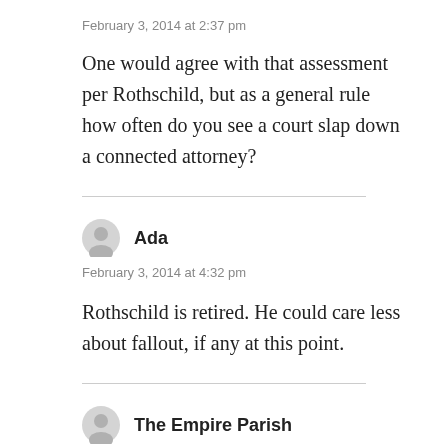February 3, 2014 at 2:37 pm
One would agree with that assessment per Rothschild, but as a general rule how often do you see a court slap down a connected attorney?
Ada
February 3, 2014 at 4:32 pm
Rothschild is retired. He could care less about fallout, if any at this point.
The Empire Parish